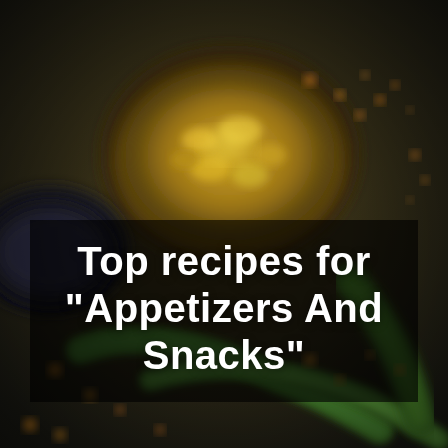[Figure (photo): Blurred food photography background showing a bowl of yellow corn kernels or similar grain/legumes, green vegetable stalks (okra or similar), scattered orange-yellow berries or seeds, and a dark bowl with seeds, arranged on a dark surface.]
Top recipes for "Appetizers And Snacks"